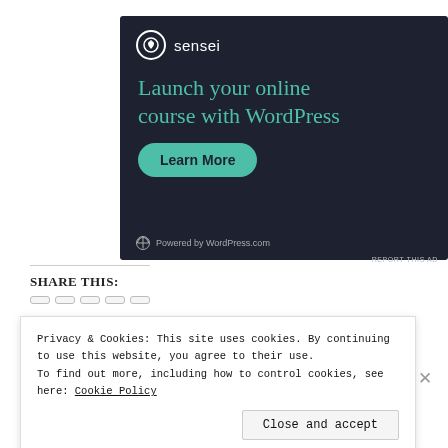[Figure (other): Sensei advertisement banner with dark background. Shows the Sensei logo (tree icon in circle), headline 'Launch your online course with WordPress' in teal, a 'Learn More' teal button, and 'Powered by WordPress.com' footer.]
REPORT THIS AD
Share this:
Privacy & Cookies: This site uses cookies. By continuing to use this website, you agree to their use.
To find out more, including how to control cookies, see here: Cookie Policy
Close and accept